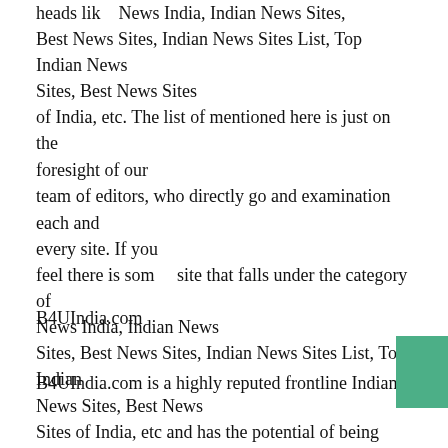heads lik   News India, Indian News Sites, Best News Sites, Indian News Sites List, Top Indian News Sites, Best News Sites of India, etc. The list of mentioned here is just on the foresight of our team of editors, who directly go and examination each and every site. If you feel there is som    site that falls under the category of News India, Indian News Sites, Best News Sites, Indian News Sites List, Top Indian News Sites, Best News Sites of India, etc and has the potential of being itemized on this page, kindly do let us know.
B4UIndia.com
B4UIndia.com is a highly reputed frontline Indian